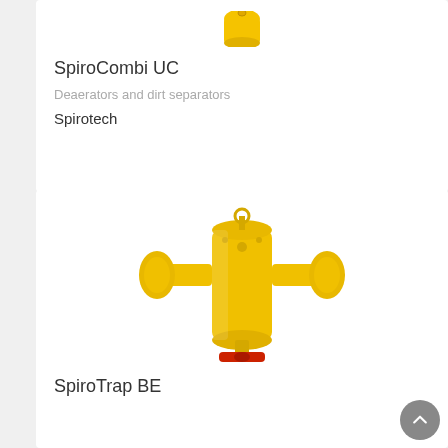[Figure (photo): Partial view of a yellow SpiroCombi UC deaerator/dirt separator product, cropped at top]
SpiroCombi UC
Deaerators and dirt separators
Spirotech
[Figure (photo): Yellow SpiroTrap BE dirt separator with red valve handle, shown as 3D render]
SpiroTrap BE